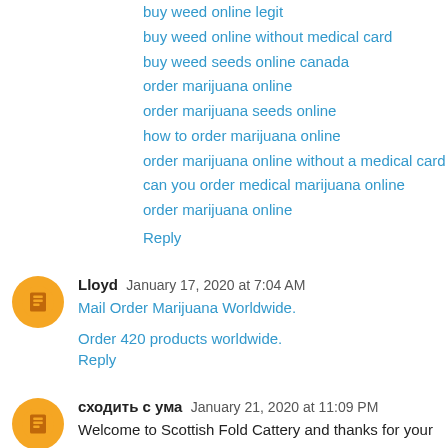buy weed online legit
buy weed online without medical card
buy weed seeds online canada
order marijuana online
order marijuana seeds online
how to order marijuana online
order marijuana online without a medical card
can you order medical marijuana online
order marijuana online
Reply
Lloyd  January 17, 2020 at 7:04 AM
Mail Order Marijuana Worldwide.
Order 420 products worldwide.
Reply
сходить с ума  January 21, 2020 at 11:09 PM
Welcome to Scottish Fold Cattery and thanks for your